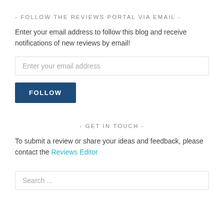- FOLLOW THE REVIEWS PORTAL VIA EMAIL -
Enter your email address to follow this blog and receive notifications of new reviews by email!
Enter your email address
FOLLOW
- GET IN TOUCH -
To submit a review or share your ideas and feedback, please contact the Reviews Editor
Search ...